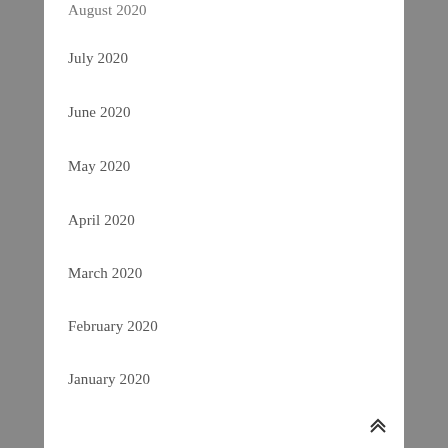August 2020
July 2020
June 2020
May 2020
April 2020
March 2020
February 2020
January 2020
December 2019
November 2019